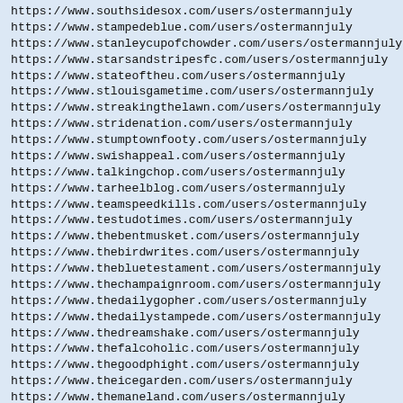https://www.southsidesox.com/users/ostermannjuly
https://www.stampedeblue.com/users/ostermannjuly
https://www.stanleycupofchowder.com/users/ostermannjuly
https://www.starsandstripesfc.com/users/ostermannjuly
https://www.stateoftheu.com/users/ostermannjuly
https://www.stlouisgametime.com/users/ostermannjuly
https://www.streakingthelawn.com/users/ostermannjuly
https://www.stridenation.com/users/ostermannjuly
https://www.stumptownfooty.com/users/ostermannjuly
https://www.swishappeal.com/users/ostermannjuly
https://www.talkingchop.com/users/ostermannjuly
https://www.tarheelblog.com/users/ostermannjuly
https://www.teamspeedkills.com/users/ostermannjuly
https://www.testudotimes.com/users/ostermannjuly
https://www.thebentmusket.com/users/ostermannjuly
https://www.thebirdwrites.com/users/ostermannjuly
https://www.thebluetestament.com/users/ostermannjuly
https://www.thechampaignroom.com/users/ostermannjuly
https://www.thedailygopher.com/users/ostermannjuly
https://www.thedailystampede.com/users/ostermannjuly
https://www.thedreamshake.com/users/ostermannjuly
https://www.thefalcoholic.com/users/ostermannjuly
https://www.thegoodphight.com/users/ostermannjuly
https://www.theicegarden.com/users/ostermannjuly
https://www.themaneland.com/users/ostermannjuly
https://www.theonlycolors.com/users/ostermannjuly
https://www.thephinsider.com/users/ostermannjuly
https://www.thesirenssong.com/users/ostermannjuly
https://www.theuconnblog.com/users/ostermannjuly
https://www.threelionsroar.com/users/ostermannjuly